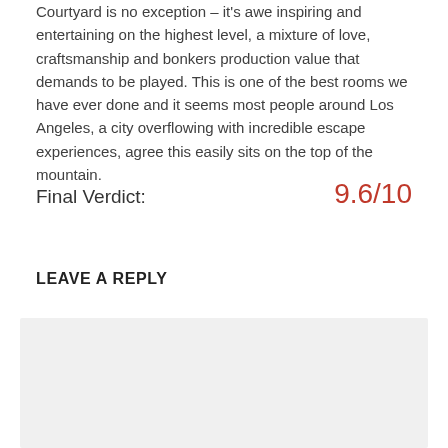Courtyard is no exception – it's awe inspiring and entertaining on the highest level, a mixture of love, craftsmanship and bonkers production value that demands to be played. This is one of the best rooms we have ever done and it seems most people around Los Angeles, a city overflowing with incredible escape experiences, agree this easily sits on the top of the mountain.
Final Verdict: 9.6/10
LEAVE A REPLY
Comment